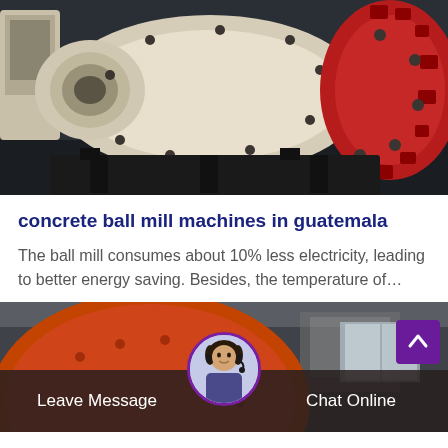[Figure (photo): Industrial ball mill machine photographed in a factory setting. The machine is cream/white colored with a large cylindrical drum and a red gear/flange assembly visible on the right side. Black metal frame and bolts visible.]
concrete ball mill machines in guatemala
The ball mill consumes about 10% less electricity, leading to better energy saving. Besides, the temperature of…
[Figure (photo): Partial view of an industrial ball mill with a large orange/red drum in a factory setting. Background shows factory interior with windows.]